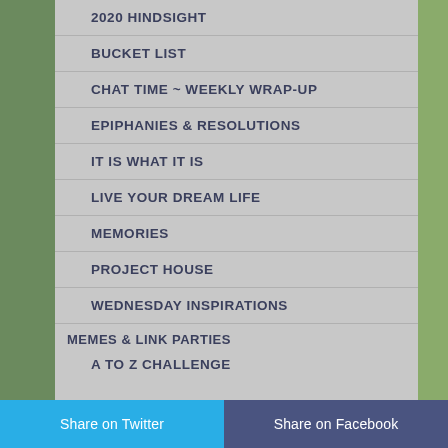2020 HINDSIGHT
BUCKET LIST
CHAT TIME ~ WEEKLY WRAP-UP
EPIPHANIES & RESOLUTIONS
IT IS WHAT IT IS
LIVE YOUR DREAM LIFE
MEMORIES
PROJECT HOUSE
WEDNESDAY INSPIRATIONS
MEMES & LINK PARTIES
A to Z CHALLENGE
Share on Twitter   Share on Facebook